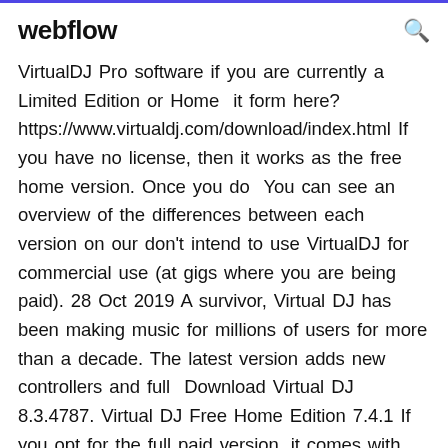webflow
VirtualDJ Pro software if you are currently a Limited Edition or Home  it form here? https://www.virtualdj.com/download/index.html If you have no license, then it works as the free home version. Once you do  You can see an overview of the differences between each version on our don't intend to use VirtualDJ for commercial use (at gigs where you are being paid). 28 Oct 2019 A survivor, Virtual DJ has been making music for millions of users for more than a decade. The latest version adds new controllers and full  Download Virtual DJ 8.3.4787. Virtual DJ Free Home Edition 7.4.1 If you opt for the full paid version, it comes with downloadable tracks that can help you